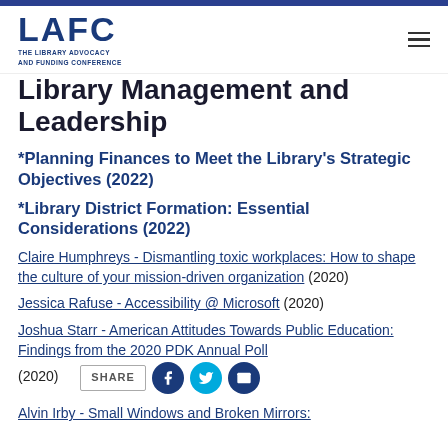LAFC - THE LIBRARY ADVOCACY AND FUNDING CONFERENCE
Library Management and Leadership
*Planning Finances to Meet the Library's Strategic Objectives (2022)
*Library District Formation: Essential Considerations (2022)
Claire Humphreys - Dismantling toxic workplaces: How to shape the culture of your mission-driven organization (2020)
Jessica Rafuse - Accessibility @ Microsoft (2020)
Joshua Starr - American Attitudes Towards Public Education: Findings from the 2020 PDK Annual Poll (2020)
Alvin Irby - Small Windows and Broken Mirrors: